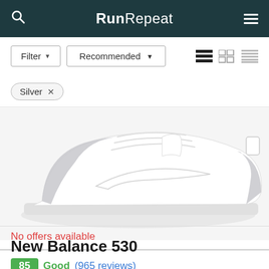RunRepeat
Filter ▾   Recommended ▾
Silver ×
[Figure (photo): A white and silver sneaker (running shoe) with metallic silver toe cap and heel, white body with a white swoosh-like stripe, on a white background.]
No offers available
New Balance 530
85  Good  (965 reviews)